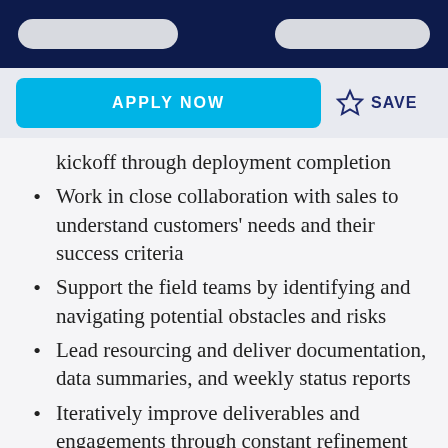APPLY NOW
SAVE
kickoff through deployment completion
Work in close collaboration with sales to understand customers' needs and their success criteria
Support the field teams by identifying and navigating potential obstacles and risks
Lead resourcing and deliver documentation, data summaries, and weekly status reports
Iteratively improve deliverables and engagements through constant refinement of processes
Requirements